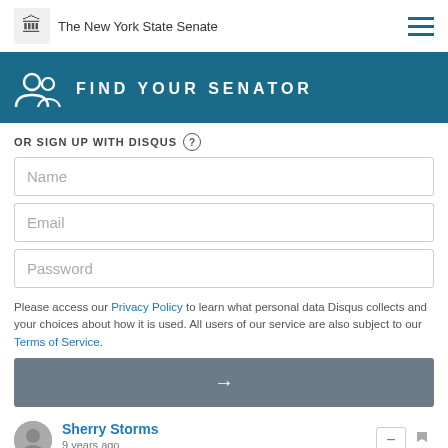The New York State Senate
FIND YOUR SENATOR
OR SIGN UP WITH DISQUS
Name
Email
Password
Please access our Privacy Policy to learn what personal data Disqus collects and your choices about how it is used. All users of our service are also subject to our Terms of Service.
Sherry Storms
9 years ago
Why 50 years? So family members won' be publically